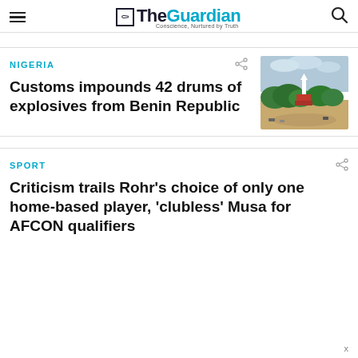The Guardian — Conscience, Nurtured by Truth
NIGERIA
Customs impounds 42 drums of explosives from Benin Republic
[Figure (photo): Aerial view of a city with green trees and a landmark structure, sandy ground visible]
SPORT
Criticism trails Rohr's choice of only one home-based player, 'clubless' Musa for AFCON qualifiers